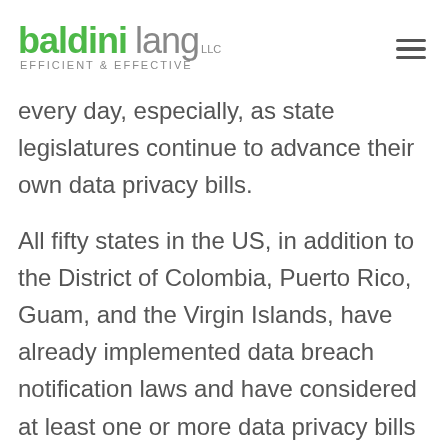baldini lang LLC — efficient & effective
every day, especially, as state legislatures continue to advance their own data privacy bills.
All fifty states in the US, in addition to the District of Colombia, Puerto Rico, Guam, and the Virgin Islands, have already implemented data breach notification laws and have considered at least one or more data privacy bills in the last two years. And (thus far) in